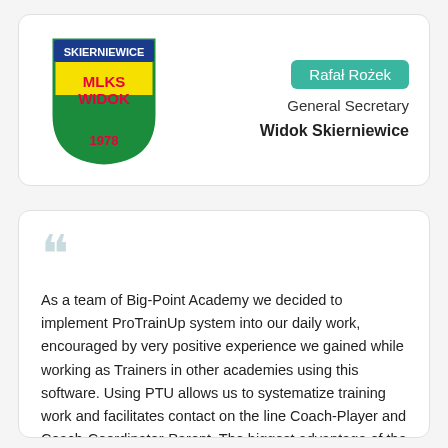[Figure (logo): MLKS Widok Skierniewice club shield logo — yellow and green shield with red 'MLKS WIDOK' text and '1978' in red, with 'SKIERNIEWICE' in blue at the top border]
Rafał Rożek
General Secretary
Widok Skierniewice
As a team of Big-Point Academy we decided to implement ProTrainUp system into our daily work, encouraged by very positive experience we gained while working as Trainers in other academies using this software. Using PTU allows us to systematize training work and facilitates contact on the line Coach-Player and Coach-Coordinator-Parent. The biggest advantage of the system is its simplicity of usage and countless tools that help to conduct